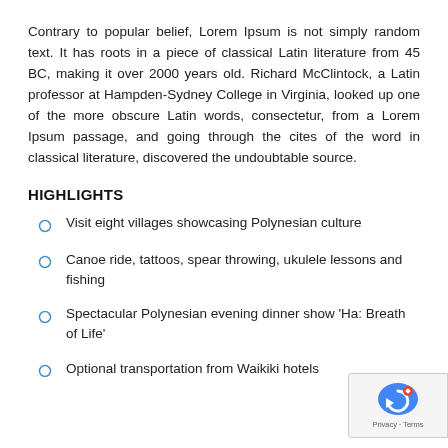Contrary to popular belief, Lorem Ipsum is not simply random text. It has roots in a piece of classical Latin literature from 45 BC, making it over 2000 years old. Richard McClintock, a Latin professor at Hampden-Sydney College in Virginia, looked up one of the more obscure Latin words, consectetur, from a Lorem Ipsum passage, and going through the cites of the word in classical literature, discovered the undoubtable source.
HIGHLIGHTS
Visit eight villages showcasing Polynesian culture
Canoe ride, tattoos, spear throwing, ukulele lessons and fishing
Spectacular Polynesian evening dinner show 'Ha: Breath of Life'
Optional transportation from Waikiki hotels